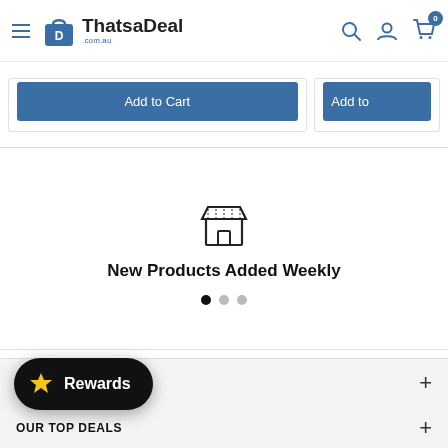[Figure (screenshot): ThatsaDeal.com.au website header with hamburger menu, logo, and icons for search, account, and cart with badge showing 0]
[Figure (screenshot): Two partially visible 'Add to Cart' blue buttons from product cards]
[Figure (illustration): Store/shop icon (outline of a market stall) above the text 'New Products Added Weekly' with three pagination dots below]
New Products Added Weekly
BAG
OUR TOP DEALS
[Figure (screenshot): Black pill-shaped Rewards button with a gold star icon and white 'Rewards' text]